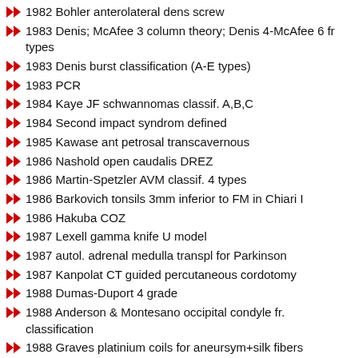1982 Bohler anterolateral dens screw
1983 Denis; McAfee 3 column theory; Denis 4-McAfee 6 fr types
1983 Denis burst classification (A-E types)
1983 PCR
1984 Kaye JF schwannomas classif. A,B,C
1984 Second impact syndrom defined
1985 Kawase ant petrosal transcavernous
1986 Nashold open caudalis DREZ
1986 Martin-Spetzler AVM classif. 4 types
1986 Barkovich tonsils 3mm inferior to FM in Chiari I
1986 Hakuba COZ
1987 Lexell gamma knife U model
1987 autol. adrenal medulla transpl for Parkinson
1987 Kanpolat CT guided percutaneous cordotomy
1988 Dumas-Duport 4 grade
1988 Anderson & Montesano occipital condyle fr. classification
1988 Graves platinium coils for aneursym+silk fibers
1988 WFNS aneurismal SAH grading-6
1989 Nimodipin FDA approved for vasospasm therapy